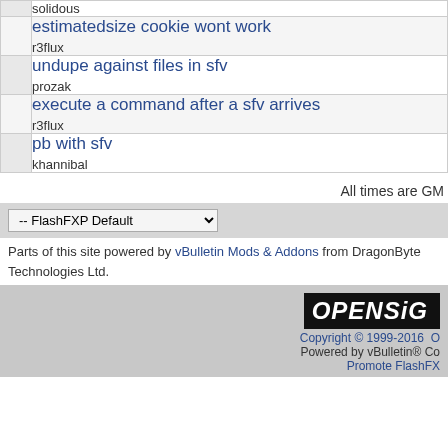| solidous |
| estimatedsize cookie wont work
r3flux |
| undupe against files in sfv
prozak |
| execute a command after a sfv arrives
r3flux |
| pb with sfv
khannibal |
All times are GM
-- FlashFXP Default
Parts of this site powered by vBulletin Mods & Addons from DragonByte Technologies Ltd.
[Figure (logo): OPENSiGN logo with copyright and powered by text]
Copyright © 1999-2016  O
Powered by vBulletin® Co
Promote FlashFX